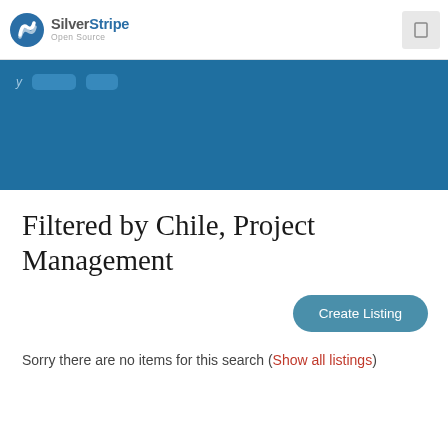SilverStripe Open Source
Filtered by Chile, Project Management
Create Listing
Sorry there are no items for this search (Show all listings)